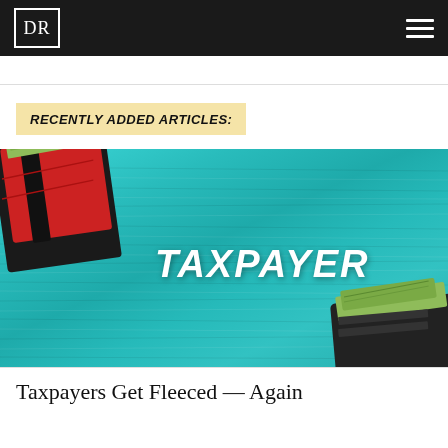DR
RECENTLY ADDED ARTICLES:
[Figure (photo): Photo of a teal/turquoise wooden surface with the word TAXPAYER written in white italic bold text, and wallets/cash visible in the corners]
Taxpayers Get Fleeced — Again